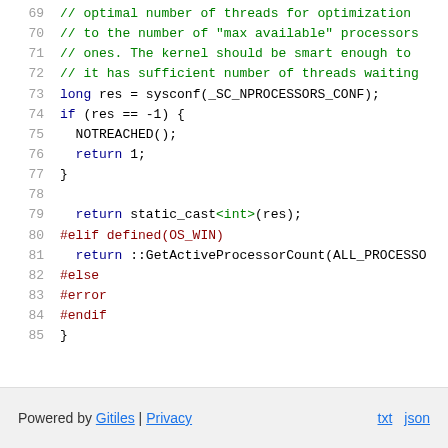[Figure (screenshot): Code listing showing lines 69-85 of a C++ source file with syntax highlighting. Contains comments about thread optimization, sysconf call, conditional compilation for OS_WIN, and preprocessor directives.]
Powered by Gitiles | Privacy    txt  json